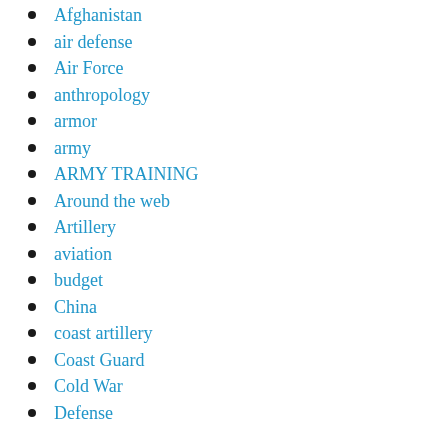Afghanistan
air defense
Air Force
anthropology
armor
army
ARMY TRAINING
Around the web
Artillery
aviation
budget
China
coast artillery
Coast Guard
Cold War
Defense